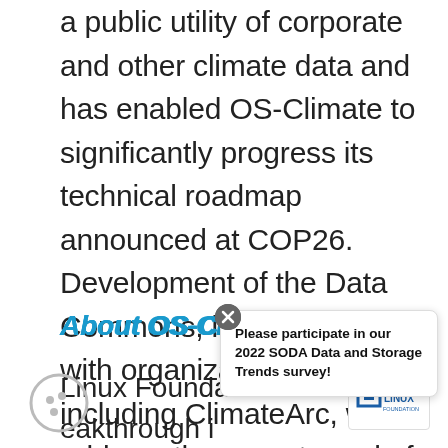a public utility of corporate and other climate data and has enabled OS-Climate to significantly progress its technical roadmap announced at COP26. Development of the Data Commons, in collaboration with organizations including ClimateArc, will address the urgent need of the finance community for data that is transparent, consistent, and interoperable.
About OS-Climate
Linux Foundation ... breakthrough i...
[Figure (other): Cookie consent icon — circle with three dots]
[Figure (other): Popup overlay: 'Please participate in our 2022 SODA Data and Storage Trends survey!' with a close button (X)]
[Figure (logo): The Linux Foundation logo in a white rounded box]